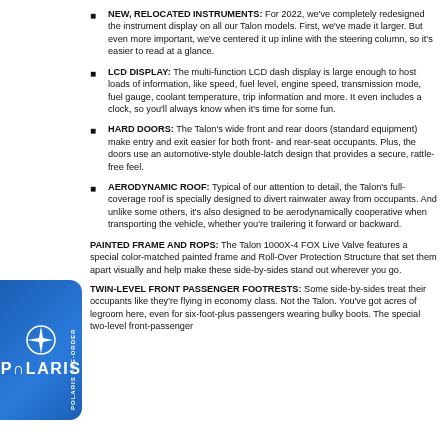NEW, RELOCATED INSTRUMENTS: For 2022, we've completely redesigned the instrument display on all our Talon models. First, we've made it larger. But even more important, we've centered it up inline with the steering column, so it's easier to read at a glance.
LCD DISPLAY: The multi-function LCD dash display is large enough to host loads of information, like speed, fuel level, engine speed, transmission mode, fuel gauge, coolant temperature, trip information and more. It even includes a clock, so you'll always know when it's time for some fun.
HARD DOORS: The Talon's wide front and rear doors (standard equipment) make entry and exit easier for both front- and rear-seat occupants. Plus, the doors use an automotive-style double-latch design that provides a secure, rattle-free feel.
AERODYNAMIC ROOF: Typical of our attention to detail, the Talon's full-coverage roof is specially designed to divert rainwater away from occupants. And unlike some others, it's also designed to be aerodynamically cooperative when transporting the vehicle, whether you're trailering it forward or backward.
PAINTED FRAME AND ROPS: The Talon 1000X-4 FOX Live Valve features a special color-matched painted frame and Roll-Over Protection Structure that set them apart visually and help make these side-by-sides stand out wherever you go.
TWIN-LEVEL FRONT PASSENGER FOOTRESTS: Some side-by-sides treat their occupants like they're flying in economy class. Not the Talon. You've got acres of legroom here, even for six-foot-plus passengers wearing bulky boots. The special two-level front-passenger
[Figure (logo): Polaris Pre-Order logo badge — blue rounded rectangle with Polaris star and wordmark, 'POLARIS PRE-ORDER' text on side]